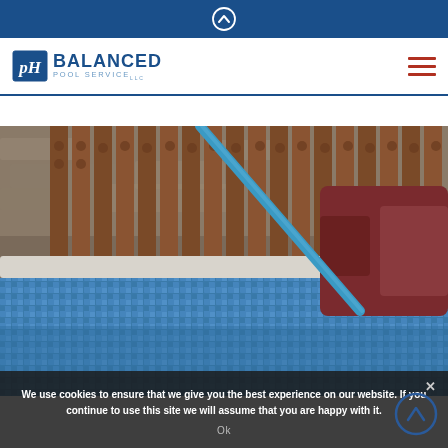Navigation bar with Balanced Pool Service logo and hamburger menu
[Figure (photo): A person in a red jacket using a blue pool cleaning pole/brush to clean the edge of an indoor swimming pool with blue mosaic tiles and stone surround.]
We use cookies to ensure that we give you the best experience on our website. If you continue to use this site we will assume that you are happy with it.
Ok